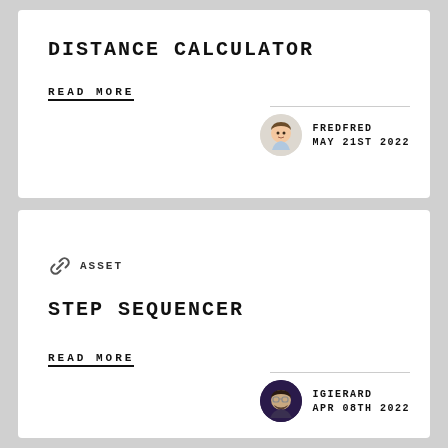DISTANCE CALCULATOR
READ MORE
FREDFRED
MAY 21ST 2022
ASSET
STEP SEQUENCER
READ MORE
IGIERARD
APR 08TH 2022